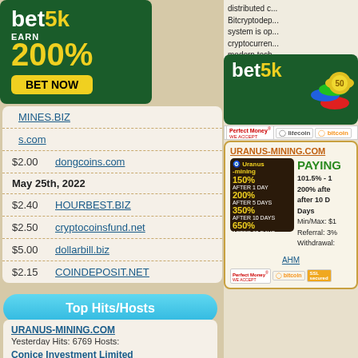[Figure (advertisement): bet5k ad banner green background, EARN 200% BET NOW yellow button]
MINES.BIZ
s.com
$2.00   dongcoins.com
May 25th, 2022
$2.40   HOURBEST.BIZ
$2.50   cryptocoinsfund.net
$5.00   dollarbill.biz
$2.15   COINDEPOSIT.NET
Top Hits/Hosts
URANUS-MINING.COM
Yesterday Hits: 6769 Hosts: 6769
Conice Investment Limited
Yesterday Hits: 5206 Hosts: 5206
distributed c... Bitcryptodep... system is op... cryptocurren... modern tech... investment i... distribute the... also have experience working in... the Coinbase.com and Binance.c...
[Figure (advertisement): bet5k ad banner green background with coins showing 50]
[Figure (logo): Payment icons: Perfect Money, Litecoin, Bitcoin]
URANUS-MINING.COM
[Figure (advertisement): Uranus mining ad: 150% after 1 day, 200% after 5 days, 350% after 10 days, 650% after 20 days]
PAYING
101.5% - 1
200% after
after 10 D
Days
Min/Max: $1
Referral: 3%
Withdrawal:
AHM
[Figure (logo): Payment icons: Perfect Money, Bitcoin, SSL Secured]